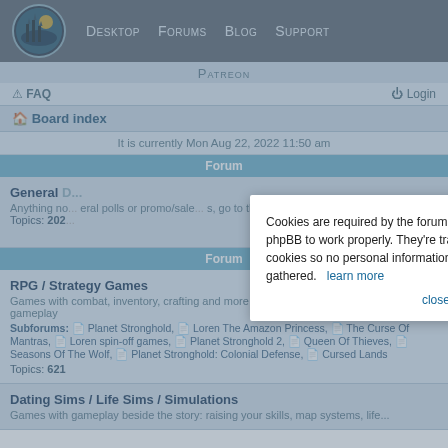Desktop  Forums  Blog  Support
Patreon
FAQ   Login
Board index
It is currently Mon Aug 22, 2022 11:50 am
Cookies are required by the forum software phpBB to work properly. They're transient cookies so no personal information will be gathered.   learn more
close message
Forum
General
Anything no... eral polls or promo/sale... s, go to the Golden Lion subfo...
Topics: 202
Forum
RPG / Strategy Games
Games with combat, inventory, crafting and more beside a story and dating/life sim gameplay
Subforums: Planet Stronghold, Loren The Amazon Princess, The Curse Of Mantras, Loren spin-off games, Planet Stronghold 2, Queen Of Thieves, Seasons Of The Wolf, Planet Stronghold: Colonial Defense, Cursed Lands
Topics: 621
Dating Sims / Life Sims / Simulations
Games with gameplay beside the story: raising your skills, map systems, life...